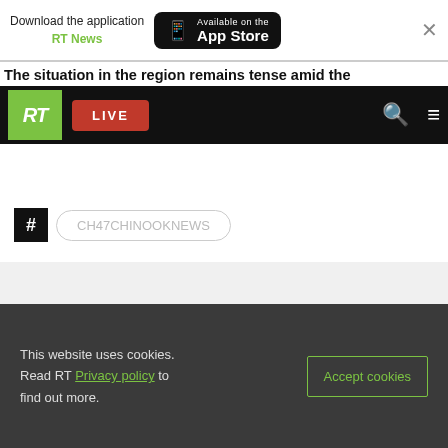[Figure (screenshot): App download banner with RT News and Available on the App Store button]
The situation in the region remains tense amid the
[Figure (screenshot): RT website navigation bar with logo, LIVE button, search and menu icons]
#CH47CHINOOKNEWS
You can share this story on social media:
[Figure (infographic): Social media share icons: Twitter, Reddit, Telegram, WhatsApp, VK, Email, Link]
This website uses cookies. Read RT Privacy policy to find out more.